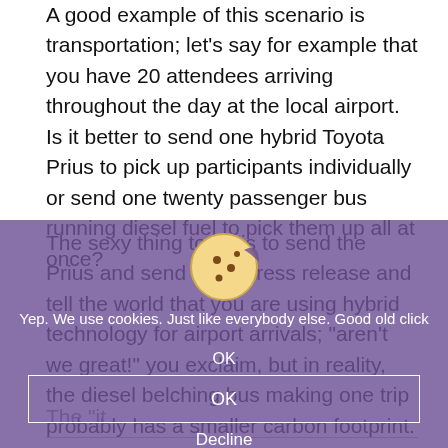A good example of this scenario is transportation; let's say for example that you have 20 attendees arriving throughout the day at the local airport. Is it better to send one hybrid Toyota Prius to pick up participants individually or send one twenty passenger bus running diesel fuel to pick them up all at once?
The sexy thing to do is to send the Prius and send out a press release and tell the world that you are using hybrid technology for airport arrivals; "aren't we great!" you exclaim, but in reality, the diesel belching bus making one trip probably has a smaller carbon footprint. Another common example is paper vs. cloth napkins. Sometimes paper is actually greener when you factor in the transportation, water, detergent and bleach required to clean the cloth napkins.
[Figure (other): Cookie consent overlay with purple/violet semi-transparent background. Contains a cookie icon at top, text 'Yep. We use cookies. Just like everybody else. Good old click OK' with a small OK label, a white-bordered OK button box, and a Decline button below.]
The "it...